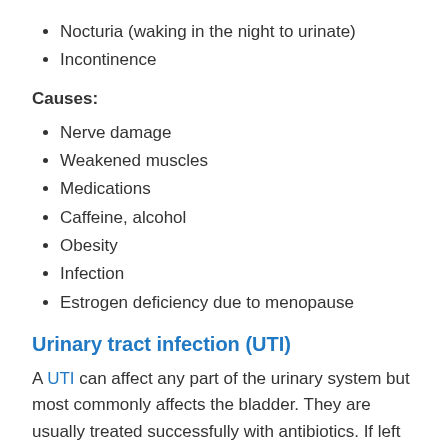Nocturia (waking in the night to urinate)
Incontinence
Causes:
Nerve damage
Weakened muscles
Medications
Caffeine, alcohol
Obesity
Infection
Estrogen deficiency due to menopause
Urinary tract infection (UTI)
A UTI can affect any part of the urinary system but most commonly affects the bladder. They are usually treated successfully with antibiotics. If left untreated, however, a UTI can lead to a kidney infection. In older adults, a UTI can very quickly lead to confusion and